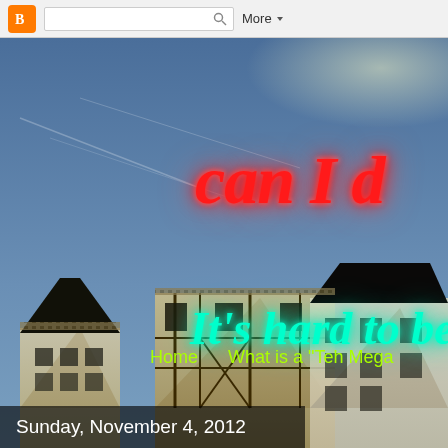[Figure (screenshot): Blogger navbar with orange B logo, search box, and More dropdown button]
[Figure (photo): Blogger blog header screenshot showing European half-timbered houses against a blue sky with neon-style text reading 'can I d...' in red and 'It's hard to be' in cyan/green, plus navigation links 'Home' and 'What is a Teh Mega...' and a date overlay reading 'Sunday, November 4, 2012']
can I d
It's hard to be
Home
What is a "Teh Mega
Sunday, November 4, 2012